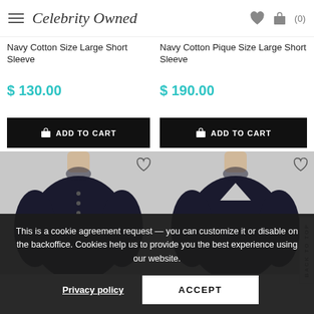Celebrity Owned
Navy Cotton Size Large Short Sleeve
$ 130.00
Navy Cotton Pique Size Large Short Sleeve
$ 190.00
ADD TO CART
ADD TO CART
[Figure (photo): Dark navy long sleeve henley sweater on mannequin]
[Figure (photo): Dark navy v-neck long sleeve sweater on mannequin]
BACK TO TOP
This is a cookie agreement request — you can customize it or disable on the backoffice. Cookies help us to provide you the best experience using our website.
Privacy policy
ACCEPT